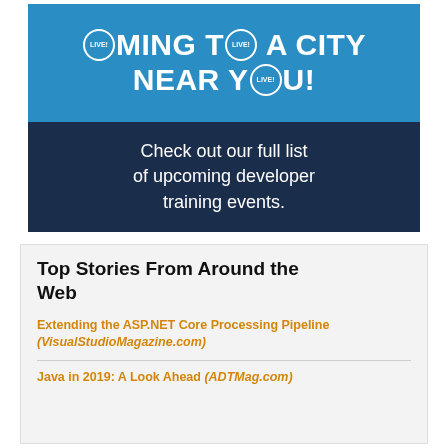[Figure (infographic): Advertisement banner: Blue top section with white bold text 'COMING TO A CITY NEAR YOU!' with circular LIVE! badges. Dark navy bottom section with white text 'Check out our full list of upcoming developer training events.']
Top Stories From Around the Web
Extending the ASP.NET Core Processing Pipeline (VisualStudioMagazine.com)
Java in 2019: A Look Ahead (ADTMag.com)